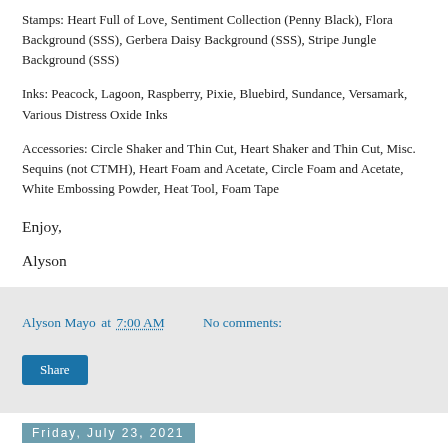Stamps: Heart Full of Love, Sentiment Collection (Penny Black), Flora Background (SSS), Gerbera Daisy Background (SSS), Stripe Jungle Background (SSS)
Inks: Peacock, Lagoon, Raspberry, Pixie, Bluebird, Sundance, Versamark, Various Distress Oxide Inks
Accessories: Circle Shaker and Thin Cut, Heart Shaker and Thin Cut, Misc. Sequins (not CTMH), Heart Foam and Acetate, Circle Foam and Acetate, White Embossing Powder, Heat Tool, Foam Tape
Enjoy,
Alyson
Alyson Mayo at 7:00 AM   No comments:
Share
Friday, July 23, 2021
Sending Sunshine and Rainbows
I saw a card very similar to this one on Pinterest. The creator was Windy Ellard but the post was written as part of swap. The link to